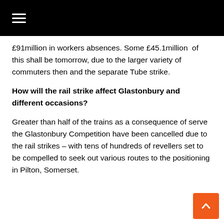☰
£91million in workers absences. Some £45.1million  of this shall be tomorrow, due to the larger variety of commuters then and the separate Tube strike.
How will the rail strike affect Glastonbury and different occasions?
Greater than half of the trains as a consequence of serve the Glastonbury Competition have been cancelled due to the rail strikes – with tens of hundreds of revellers set to be compelled to seek out various routes to the positioning in Pilton, Somerset.